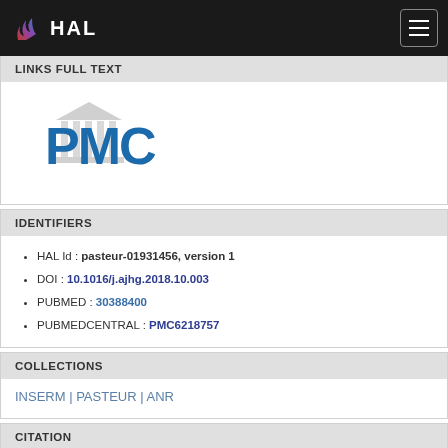HAL
LINKS FULL TEXT
[Figure (logo): PMC (PubMed Central) logo with stylized building columns icon]
IDENTIFIERS
HAL Id : pasteur-01931456, version 1
DOI : 10.1016/j.ajhg.2018.10.003
PUBMED : 30388400
PUBMEDCENTRAL : PMC6218757
COLLECTIONS
INSERM | PASTEUR | ANR
CITATION